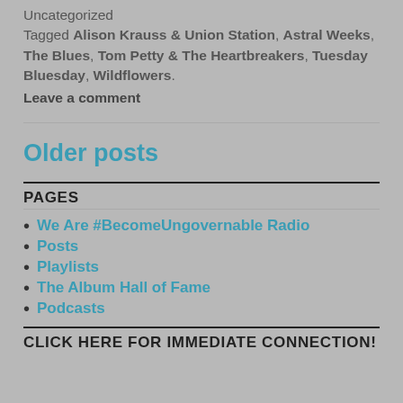Uncategorized
Tagged Alison Krauss & Union Station, Astral Weeks, The Blues, Tom Petty & The Heartbreakers, Tuesday Bluesday, Wildflowers. Leave a comment
Older posts
PAGES
We Are #BecomeUngovernable Radio
Posts
Playlists
The Album Hall of Fame
Podcasts
CLICK HERE FOR IMMEDIATE CONNECTION!